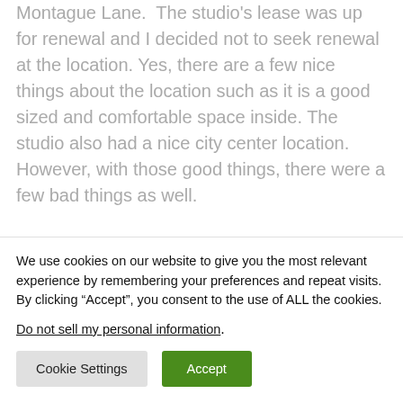Montague Lane.  The studio's lease was up for renewal and I decided not to seek renewal at the location. Yes, there are a few nice things about the location such as it is a good sized and comfortable space inside. The studio also had a nice city center location. However, with those good things, there were a few bad things as well.
[partially visible/cut-off text]
We use cookies on our website to give you the most relevant experience by remembering your preferences and repeat visits. By clicking "Accept", you consent to the use of ALL the cookies.
Do not sell my personal information.
Cookie Settings   Accept